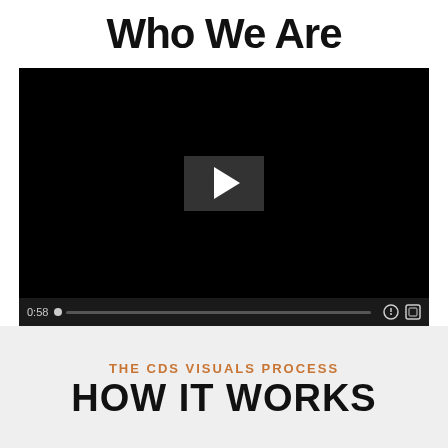Who We Are
[Figure (screenshot): Video player showing a black screen with a play button in the center and controls showing 0:58 timestamp at the bottom]
THE CDS VISUALS PROCESS
HOW IT WORKS